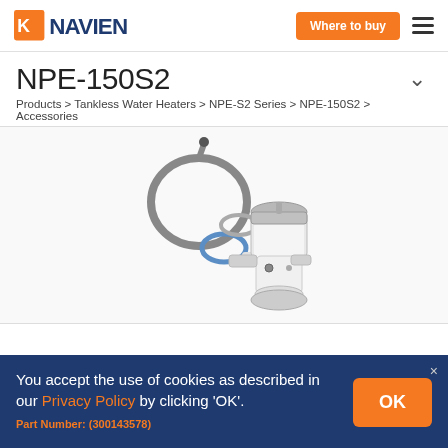NAVIEN | Where to buy
NPE-150S2
Products > Tankless Water Heaters > NPE-S2 Series > NPE-150S2 > Accessories
[Figure (photo): Navien accessory product photo showing a pump/valve assembly with cables and connectors on white background]
You accept the use of cookies as described in our Privacy Policy by clicking 'OK'.
Part Number: (300143578)
Required for Cascade/common vent installations with NPE-2, NFC-H, NFB-H and NHB (NHB -110 & NHB-150 models) series units produced on or after September 15, 2016. Includes Cascade Cable (GXXX000546), VID